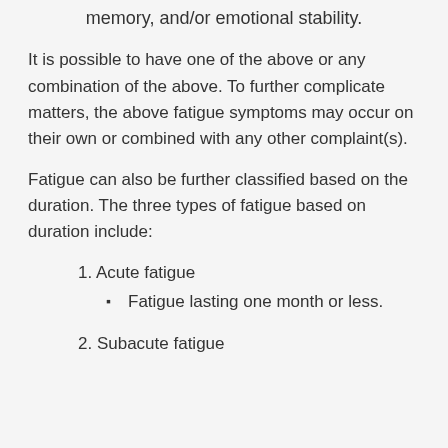memory, and/or emotional stability.
It is possible to have one of the above or any combination of the above. To further complicate matters, the above fatigue symptoms may occur on their own or combined with any other complaint(s).
Fatigue can also be further classified based on the duration. The three types of fatigue based on duration include:
1. Acute fatigue
Fatigue lasting one month or less.
2. Subacute fatigue